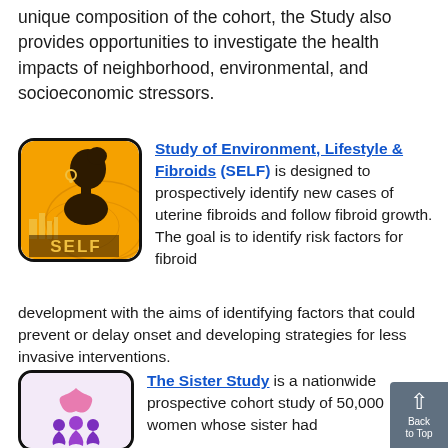unique composition of the cohort, the Study also provides opportunities to investigate the health impacts of neighborhood, environmental, and socioeconomic stressors.
[Figure (logo): SELF study logo — orange background with silhouette of a woman's head profile and 'SELF' text, rounded square border]
Study of Environment, Lifestyle & Fibroids (SELF) is designed to prospectively identify new cases of uterine fibroids and follow fibroid growth. The goal is to identify risk factors for fibroid development with the aims of identifying factors that could prevent or delay onset and developing strategies for less invasive interventions.
[Figure (logo): The Sister Study logo — light purple/lavender background with a pink ribbon and purple stylized figures, rounded square border]
The Sister Study is a nationwide prospective cohort study of 50,000 women whose sister had